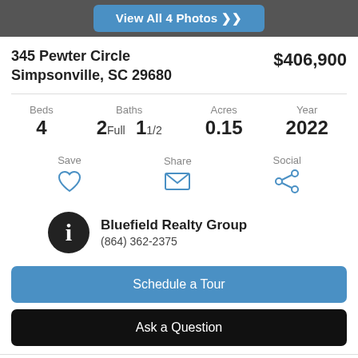View All 4 Photos
345 Pewter Circle
Simpsonville, SC 29680
$406,900
Beds 4 | Baths 2 Full 1 1/2 | Acres 0.15 | Year 2022
Save | Share | Social
Bluefield Realty Group
(864) 362-2375
Schedule a Tour
Ask a Question